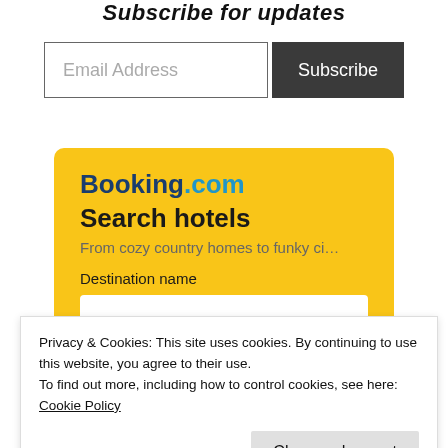Subscribe for updates
[Figure (screenshot): Email address input field with Subscribe button]
[Figure (screenshot): Booking.com hotel search widget with yellow background showing logo, 'Search hotels' title, subtitle 'From cozy country homes to funky ci...', and Destination name input field]
Privacy & Cookies: This site uses cookies. By continuing to use this website, you agree to their use.
To find out more, including how to control cookies, see here: Cookie Policy
[Figure (screenshot): Close and accept button for cookie notice]